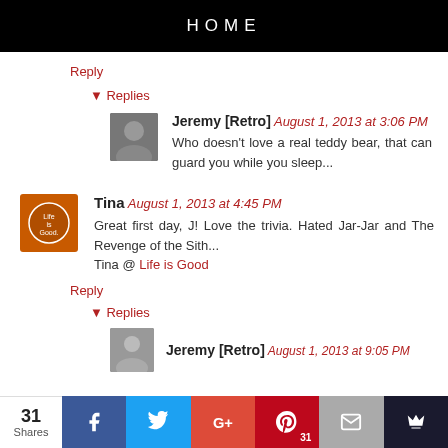HOME
Reply
▾ Replies
Jeremy [Retro] August 1, 2013 at 3:06 PM
Who doesn't love a real teddy bear, that can guard you while you sleep...
Tina August 1, 2013 at 4:45 PM
Great first day, J! Love the trivia. Hated Jar-Jar and The Revenge of the Sith...
Tina @ Life is Good
Reply
▾ Replies
Jeremy [Retro] August 1, 2013 at 9:05 PM
31 Shares